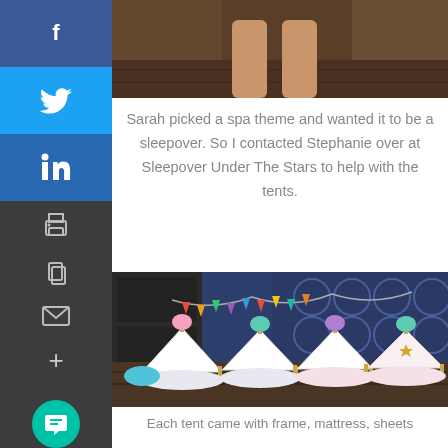[Figure (photo): Partial photo showing person's legs standing on dark hardwood floor, cut off at top of page]
Sarah picked a spa theme and wanted it to be a sleepover. So I contacted Stephanie over at Sleepover Under The Stars to help with the tents.
[Figure (photo): Photo of multiple small white teepee-style tents with colorful pom-pom decorations set up on a dark wood floor, with colorful banner garland in background and blue geometric wallpaper]
Each tent came with frame, mattress, sheets